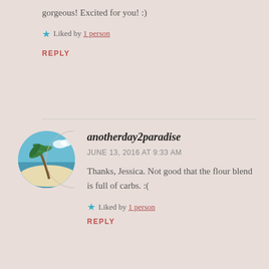gorgeous! Excited for you! :)
Liked by 1 person
REPLY
anotherday2paradise
JUNE 13, 2016 AT 9:33 AM
Thanks, Jessica. Not good that the flour blend is full of carbs. :(
Liked by 1 person
REPLY